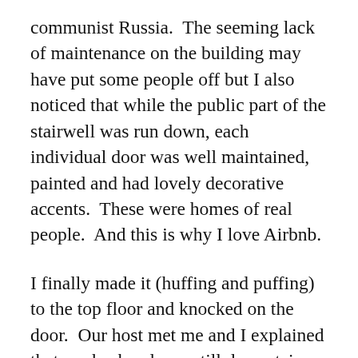communist Russia.  The seeming lack of maintenance on the building may have put some people off but I also noticed that while the public part of the stairwell was run down, each individual door was well maintained, painted and had lovely decorative accents.  These were homes of real people.  And this is why I love Airbnb.
I finally made it (huffing and puffing) to the top floor and knocked on the door.  Our host met me and I explained that my husband was still downstairs and the both of us headed back down to get him and the luggage.  And then we headed up the stairs again.  (OMG.)  Our host led us through a door that led to a rooftop terrace and showed us to his apartment, accessible only from the roof.  I will describe it more in another post about our Airbnb experience (a fabulous experience and don't think I will ever go back to